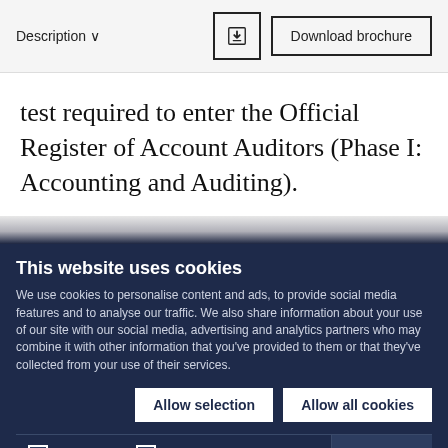Description ∨
Download brochure
test required to enter the Official Register of Account Auditors (Phase I: Accounting and Auditing).
This website uses cookies
We use cookies to personalise content and ads, to provide social media features and to analyse our traffic. We also share information about your use of our site with our social media, advertising and analytics partners who may combine it with other information that you've provided to them or that they've collected from your use of their services.
Allow selection
Allow all cookies
☑ Necessary  ☑ Preferences  ☑ Statistics  ☑ Marketing
Show details